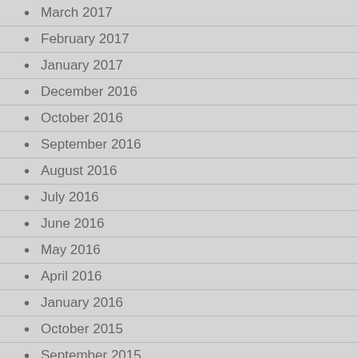March 2017
February 2017
January 2017
December 2016
October 2016
September 2016
August 2016
July 2016
June 2016
May 2016
April 2016
January 2016
October 2015
September 2015
July 2015